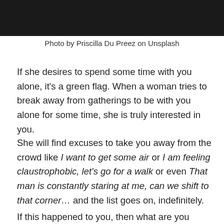[Figure (photo): Dark/moody photo strip at the top of the page]
Photo by Priscilla Du Preez on Unsplash
If she desires to spend some time with you alone, it's a green flag. When a woman tries to break away from gatherings to be with you alone for some time, she is truly interested in you.
She will find excuses to take you away from the crowd like I want to get some air or I am feeling claustrophobic, let's go for a walk or even That man is constantly staring at me, can we shift to that corner… and the list goes on, indefinitely.
If this happened to you, then what are you waiting